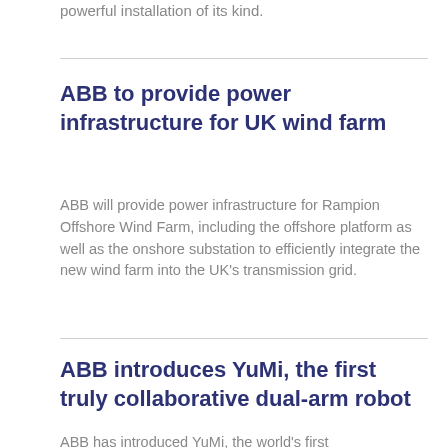powerful installation of its kind.
ABB to provide power infrastructure for UK wind farm
ABB will provide power infrastructure for Rampion Offshore Wind Farm, including the offshore platform as well as the onshore substation to efficiently integrate the new wind farm into the UK's transmission grid.
ABB introduces YuMi, the first truly collaborative dual-arm robot
ABB has introduced YuMi, the world's first truly collaborative dual-arm robot